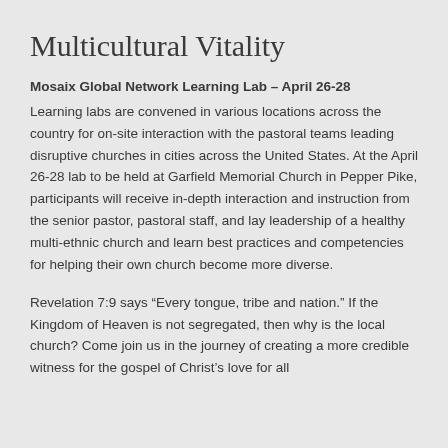Multicultural Vitality
Mosaix Global Network Learning Lab – April 26-28
Learning labs are convened in various locations across the country for on-site interaction with the pastoral teams leading disruptive churches in cities across the United States. At the April 26-28 lab to be held at Garfield Memorial Church in Pepper Pike, participants will receive in-depth interaction and instruction from the senior pastor, pastoral staff, and lay leadership of a healthy multi-ethnic church and learn best practices and competencies for helping their own church become more diverse.
Revelation 7:9 says “Every tongue, tribe and nation.” If the Kingdom of Heaven is not segregated, then why is the local church? Come join us in the journey of creating a more credible witness for the gospel of Christ’s love for all